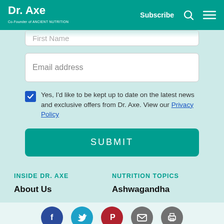Dr. Axe — Co-Founder of Ancient Nutrition | Subscribe
First Name
Email address
Yes, I'd like to be kept up to date on the latest news and exclusive offers from Dr. Axe. View our Privacy Policy
SUBMIT
INSIDE DR. AXE
NUTRITION TOPICS
About Us
Ashwagandha
[Figure (infographic): Social media icons row: Facebook, Twitter, Pinterest, Email, Print]